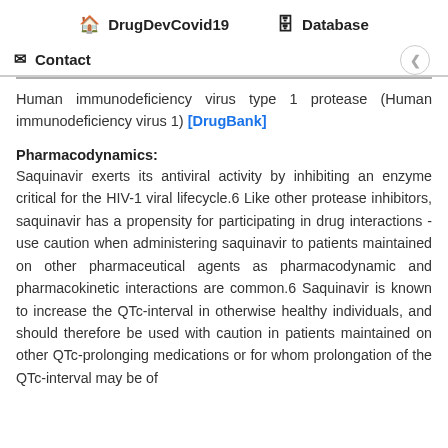DrugDevCovid19   Database
Contact
Human immunodeficiency virus type 1 protease (Human immunodeficiency virus 1) [DrugBank]
Pharmacodynamics:
Saquinavir exerts its antiviral activity by inhibiting an enzyme critical for the HIV-1 viral lifecycle.6 Like other protease inhibitors, saquinavir has a propensity for participating in drug interactions - use caution when administering saquinavir to patients maintained on other pharmaceutical agents as pharmacodynamic and pharmacokinetic interactions are common.6 Saquinavir is known to increase the QTc-interval in otherwise healthy individuals, and should therefore be used with caution in patients maintained on other QTc-prolonging medications or for whom prolongation of the QTc-interval may be of